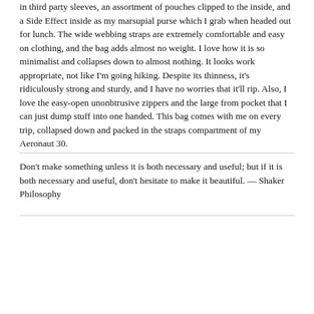in third party sleeves, an assortment of pouches clipped to the inside, and a Side Effect inside as my marsupial purse which I grab when headed out for lunch. The wide webbing straps are extremely comfortable and easy on clothing, and the bag adds almost no weight. I love how it is so minimalist and collapses down to almost nothing. It looks work appropriate, not like I'm going hiking. Despite its thinness, it's ridiculously strong and sturdy, and I have no worries that it'll rip. Also, I love the easy-open unonbtrusive zippers and the large from pocket that I can just dump stuff into one handed. This bag comes with me on every trip, collapsed down and packed in the straps compartment of my Aeronaut 30.
Don't make something unless it is both necessary and useful; but if it is both necessary and useful, don't hesitate to make it beautiful. — Shaker Philosophy
| PREVIOUS | 2 | 6 | NEXT |